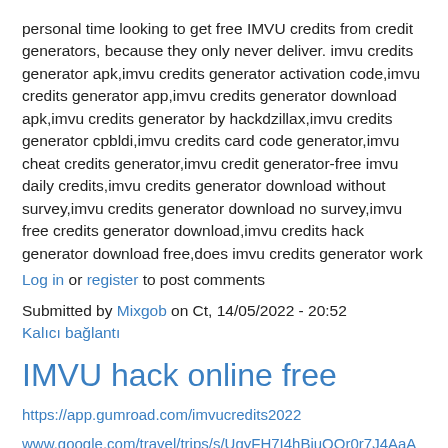personal time looking to get free IMVU credits from credit generators, because they only never deliver. imvu credits generator apk,imvu credits generator activation code,imvu credits generator app,imvu credits generator download apk,imvu credits generator by hackdzillax,imvu credits generator cpbldi,imvu credits card code generator,imvu cheat credits generator,imvu credit generator-free imvu daily credits,imvu credits generator download without survey,imvu credits generator download no survey,imvu free credits generator download,imvu credits hack generator download free,does imvu credits generator work
Log in or register to post comments
Submitted by Mixgob on Ct, 14/05/2022 - 20:52
Kalıcı bağlantı
IMVU hack online free
https://app.gumroad.com/imvucredits2022
www.google.com/travel/trips/s/UgyFH7I4hBjuQOr0r7J4AaABLKgB8Lj
IMVU hack tool 2022 IMVU free credits IMVU free hack ios 2022